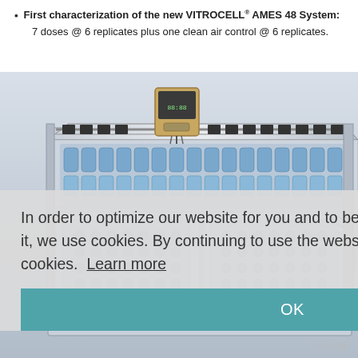First characterization of the new VITROCELL® AMES 48 System: 7 doses @ 6 replicates plus one clean air control @ 6 replicates.
[Figure (photo): Laboratory photo of the VITROCELL AMES 48 System — a large modular exposure system with transparent enclosures, multiple tubing connections, vials, and a digital display unit mounted on top.]
In order to optimize our website for you and to be able to continuously improve it, we use cookies. By continuing to use the website, you agree to the use of cookies. Learn more